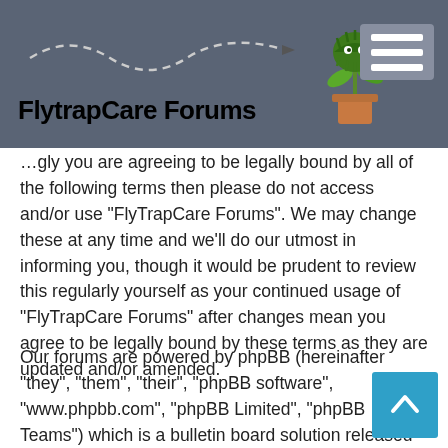FlytrapCare Forums
be legally bound by all of the following terms then please do not access and/or use “FlyTrapCare Forums”. We may change these at any time and we’ll do our utmost in informing you, though it would be prudent to review this regularly yourself as your continued usage of “FlyTrapCare Forums” after changes mean you agree to be legally bound by these terms as they are updated and/or amended.
Our forums are powered by phpBB (hereinafter “they”, “them”, “their”, “phpBB software”, “www.phpbb.com”, “phpBB Limited”, “phpBB Teams”) which is a bulletin board solution released under the “GNU General Public License v2” (hereinafter “GPL”) and can be downloaded from www.phpbb.com. The phpBB software only facilitates internet based discussions; phpBB Limited is not responsible for what we allow and/or disallow as permissible content and/or conduct. For further